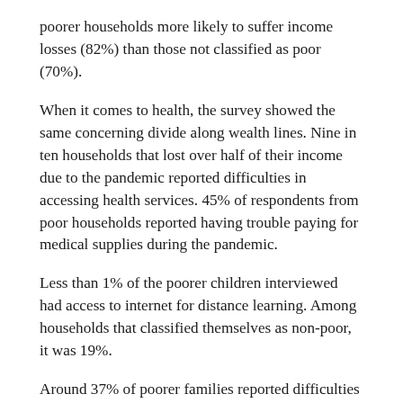poorer households more likely to suffer income losses (82%) than those not classified as poor (70%).
When it comes to health, the survey showed the same concerning divide along wealth lines. Nine in ten households that lost over half of their income due to the pandemic reported difficulties in accessing health services. 45% of respondents from poor households reported having trouble paying for medical supplies during the pandemic.
Less than 1% of the poorer children interviewed had access to internet for distance learning. Among households that classified themselves as non-poor, it was 19%.
Around 37% of poorer families reported difficulties